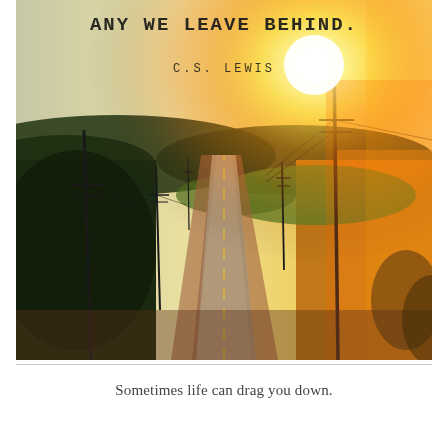[Figure (photo): A long straight road receding into the distance with telephone poles on both sides, green fields and trees, and a bright sun flare in the upper right. Text overlay reads 'ANY WE LEAVE BEHIND.' attributed to 'C.S. LEWIS'.]
Sometimes life can drag you down.